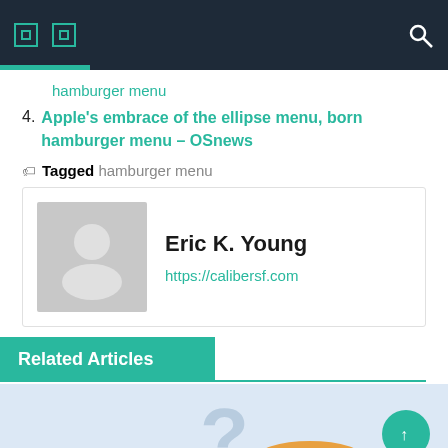Navigation bar with icons
hamburger menu
4. Apple's embrace of the ellipse menu, born hamburger menu – OSnews
🏷 Tagged hamburger menu
Eric K. Young
https://calibersf.com
Related Articles
[Figure (illustration): Article preview image with hamburger menu illustration on light blue background, teal FAB button in lower right]